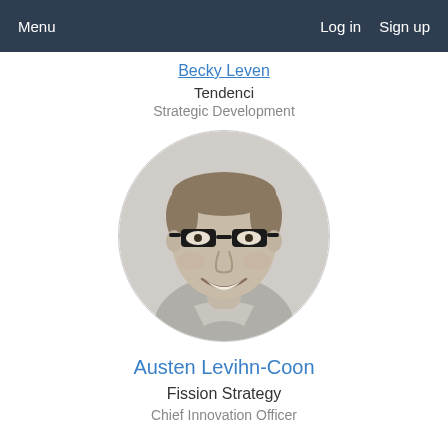Menu   Log in   Sign up
Becky Leven
Tendenci
Strategic Development
[Figure (photo): Black and white circular profile photo of a smiling man with glasses, wearing a collared shirt]
Austen Levihn-Coon
Fission Strategy
Chief Innovation Officer